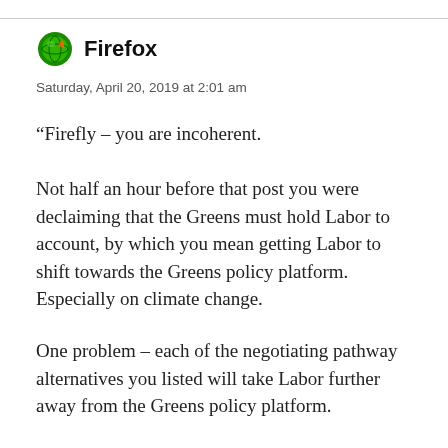Firefox — Saturday, April 20, 2019 at 2:01 am
“Firefly – you are incoherent.
Not half an hour before that post you were declaiming that the Greens must hold Labor to account, by which you mean getting Labor to shift towards the Greens policy platform. Especially on climate change.
One problem – each of the negotiating pathway alternatives you listed will take Labor further away from the Greens policy platform.